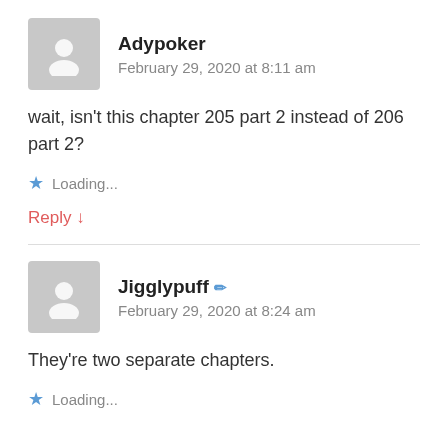Adypoker
February 29, 2020 at 8:11 am
wait, isn't this chapter 205 part 2 instead of 206 part 2?
Loading...
Reply ↓
Jigglypuff
February 29, 2020 at 8:24 am
They're two separate chapters.
Loading...